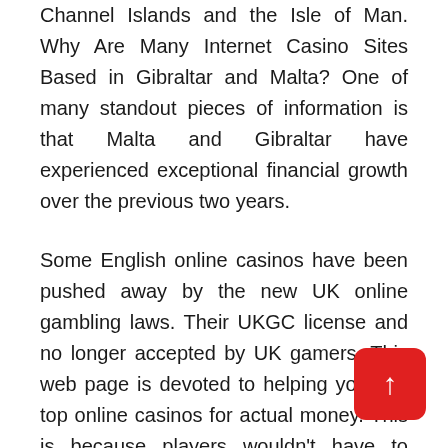Channel Islands and the Isle of Man. Why Are Many Internet Casino Sites Based in Gibraltar and Malta? One of many standout pieces of information is that Malta and Gibraltar have experienced exceptional financial growth over the previous two years.
Some English online casinos have been pushed away by the new UK online gambling laws. Their UKGC license and no longer accepted by UK gamers. This web page is devoted to helping you find top online casinos for actual money. This is because players wouldn't have to supply any of their information, and their cash is secure within the e-wallet. Lately, there have been questioning marks surrounding Brexit and the tightening of UK casino laws. There have a different set of rules, depending on where they are. There are no restrictions on getting health insurance online. Casino websites after they move the